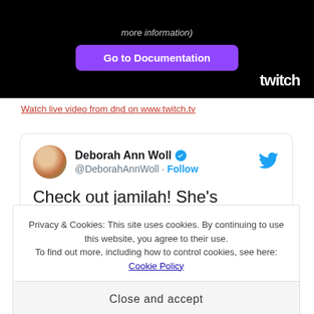[Figure (screenshot): Twitch embedded panel with black background, 'Go to Documentation' purple button, and Twitch logo bottom right]
Watch live video from dnd on www.twitch.tv
[Figure (screenshot): Tweet card by Deborah Ann Woll (@DeborahAnnWoll) with verified badge, Follow link, and tweet text beginning 'Check out jamilah! She's awesome and I']
Privacy & Cookies: This site uses cookies. By continuing to use this website, you agree to their use.
To find out more, including how to control cookies, see here: Cookie Policy
Close and accept
[Figure (photo): Bottom portion of a photo with green background visible at bottom of page]